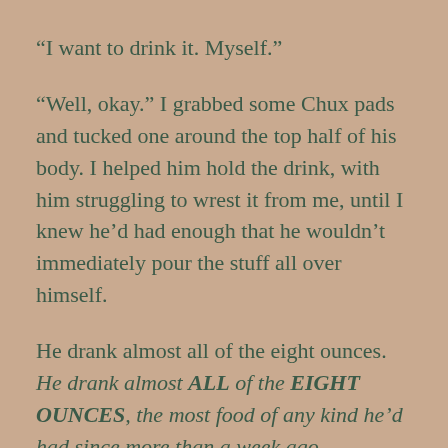“I want to drink it. Myself.”
“Well, okay.” I grabbed some Chux pads and tucked one around the top half of his body. I helped him hold the drink, with him struggling to wrest it from me, until I knew he’d had enough that he wouldn’t immediately pour the stuff all over himself.
He drank almost all of the eight ounces. He drank almost ALL of the EIGHT OUNCES, the most food of any kind he’d had since more than a week ago.
Dr. Mac called.  “Diana, this is not Alzheimer’s. I’m thinking more like Parkinson’s with Lewy